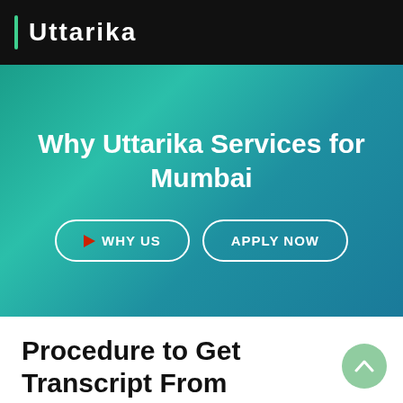Uttarika
Why Uttarika Services for Mumbai
WHY US   APPLY NOW
Procedure to Get Transcript From